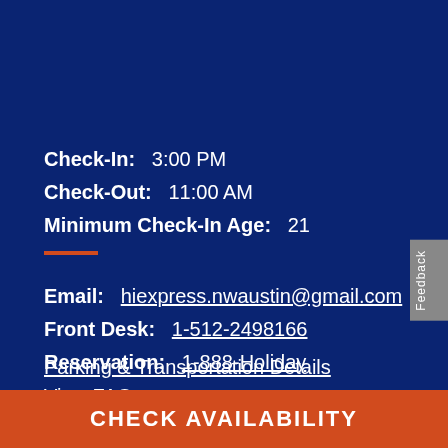Check-In:   3:00 PM
Check-Out:  11:00 AM
Minimum Check-In Age:  21
Email:  hiexpress.nwaustin@gmail.com
Front Desk:  1-512-2498166
Reservation:  1-888-Holiday
Parking & Transportation Details
View FAQ
CHECK AVAILABILITY